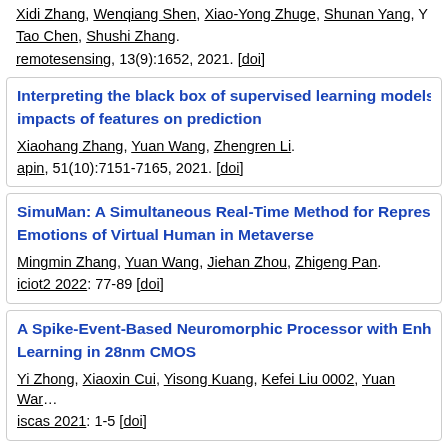Xidi Zhang, Wenqiang Shen, Xiao-Yong Zhuge, Shunan Yang, Y... Tao Chen, Shushi Zhang. remotesensing, 13(9):1652, 2021. [doi]
Interpreting the black box of supervised learning models: V... impacts of features on prediction
Xiaohang Zhang, Yuan Wang, Zhengren Li.
apin, 51(10):7151-7165, 2021. [doi]
SimuMan: A Simultaneous Real-Time Method for Represent... Emotions of Virtual Human in Metaverse
Mingmin Zhang, Yuan Wang, Jiehan Zhou, Zhigeng Pan.
iciot2 2022: 77-89 [doi]
A Spike-Event-Based Neuromorphic Processor with Enhanc... Learning in 28nm CMOS
Yi Zhong, Xiaoxin Cui, Yisong Kuang, Kefei Liu 0002, Yuan War...
iscas 2021: 1-5 [doi]